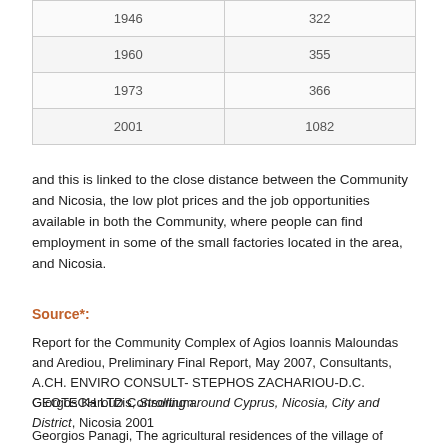| Year | Population |
| --- | --- |
| 1946 | 322 |
| 1960 | 355 |
| 1973 | 366 |
| 2001 | 1082 |
and this is linked to the close distance between the Community and Nicosia, the low plot prices and the job opportunities available in both the Community, where people can find employment in some of the small factories located in the area, and Nicosia.
Source*:
Report for the Community Complex of Agios Ioannis Maloundas and Arediou, Preliminary Final Report, May 2007, Consultants, A.CH. ENVIRO CONSULT- STEPHOS ZACHARIOU-D.C. GEOTECH LTD Consortium.
Giorgos Karouzis, Strolling around Cyprus, Nicosia, City and District, Nicosia 2001
Georgios Panagi, The agricultural residences of the village of Arediou, Nicosia 2010.